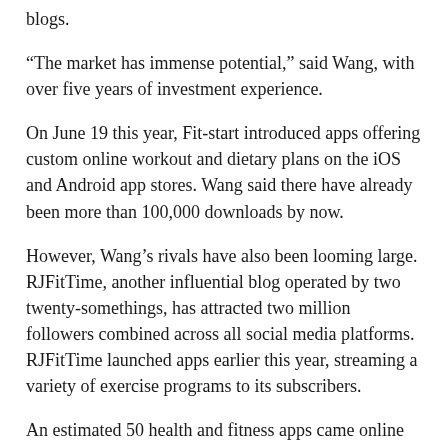blogs.
“The market has immense potential,” said Wang, with over five years of investment experience.
On June 19 this year, Fit-start introduced apps offering custom online workout and dietary plans on the iOS and Android app stores. Wang said there have already been more than 100,000 downloads by now.
However, Wang’s rivals have also been looming large. RJFitTime, another influential blog operated by two twenty-somethings, has attracted two million followers combined across all social media platforms. RJFitTime launched apps earlier this year, streaming a variety of exercise programs to its subscribers.
An estimated 50 health and fitness apps came online in the first half of this year. Most of them run the same niche market